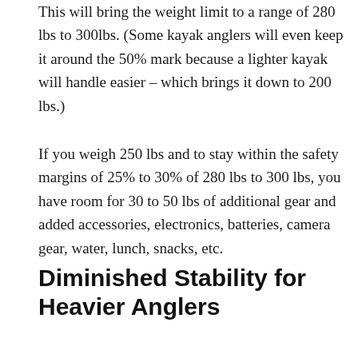This will bring the weight limit to a range of 280 lbs to 300lbs. (Some kayak anglers will even keep it around the 50% mark because a lighter kayak will handle easier – which brings it down to 200 lbs.)
If you weigh 250 lbs and to stay within the safety margins of 25% to 30% of 280 lbs to 300 lbs, you have room for 30 to 50 lbs of additional gear and added accessories, electronics, batteries, camera gear, water, lunch, snacks, etc.
Diminished Stability for Heavier Anglers
[Figure (other): Advertisement overlay: grey media placeholder with 'No adaptable source was found for this media.' text, and an orange Direct Relief donation banner reading 'Help send medical aid to Ukraine >>']